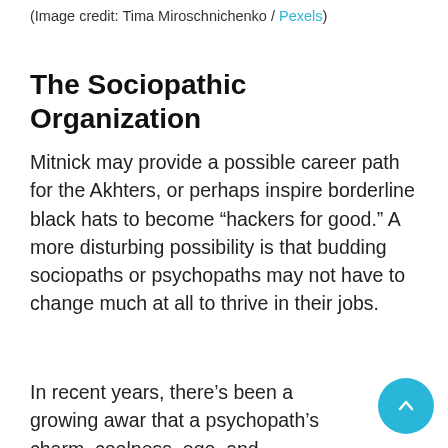(Image credit: Tima Miroschnichenko / Pexels)
The Sociopathic Organization
Mitnick may provide a possible career path for the Akhters, or perhaps inspire borderline black hats to become “hackers for good.” A more disturbing possibility is that budding sociopaths or psychopaths may not have to change much at all to thrive in their jobs.
In recent years, there’s been a growing awar… that a psychopath’s charm, coolness, ego, and